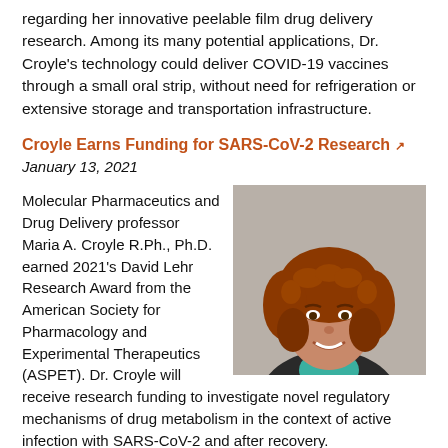regarding her innovative peelable film drug delivery research. Among its many potential applications, Dr. Croyle's technology could deliver COVID-19 vaccines through a small oral strip, without need for refrigeration or extensive storage and transportation infrastructure.
Croyle Earns Funding for SARS-CoV-2 Research ↗
January 13, 2021
[Figure (photo): Portrait photo of Maria A. Croyle, a woman with curly auburn hair, smiling, wearing a teal top and dark jacket, against a neutral gray background.]
Molecular Pharmaceutics and Drug Delivery professor Maria A. Croyle R.Ph., Ph.D. earned 2021's David Lehr Research Award from the American Society for Pharmacology and Experimental Therapeutics (ASPET). Dr. Croyle will receive research funding to investigate novel regulatory mechanisms of drug metabolism in the context of active infection with SARS-CoV-2 and after recovery.
New Thin Film Technology to Revolutionize Storage